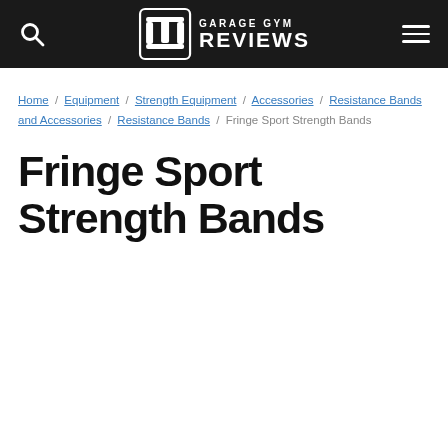Garage Gym Reviews
Home / Equipment / Strength Equipment / Accessories / Resistance Bands and Accessories / Resistance Bands / Fringe Sport Strength Bands
Fringe Sport Strength Bands